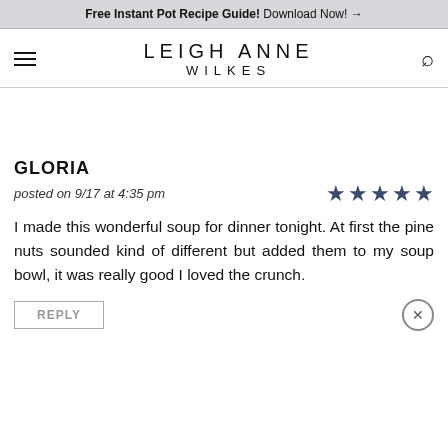Free Instant Pot Recipe Guide! Download Now! →
LEIGH ANNE WILKES
GLORIA
posted on 9/17 at 4:35 pm
★★★★★
I made this wonderful soup for dinner tonight. At first the pine nuts sounded kind of different but added them to my soup bowl, it was really good I loved the crunch.
REPLY